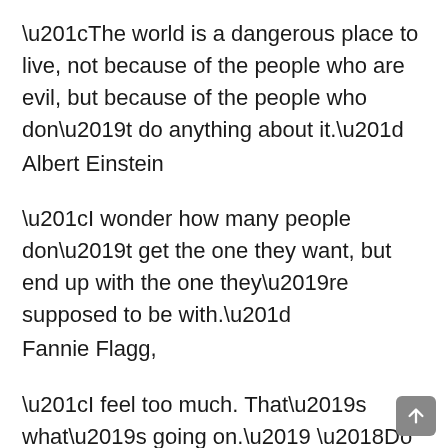“The world is a dangerous place to live, not because of the people who are evil, but because of the people who don’t do anything about it.” Albert Einstein
“I wonder how many people don’t get the one they want, but end up with the one they’re supposed to be with.” Fannie Flagg,
“I feel too much. That’s what’s going on.’ ‘Do you think one can feel too much? Or just feel in the wrong ways?’ ‘My insides don’t match up with my outsides.’ ‘Do anyone’s insides and outsides match up?’ ‘I don’t know. I’m only me.’ ‘Maybe that’s what a person’s personality is: the difference between the inside and